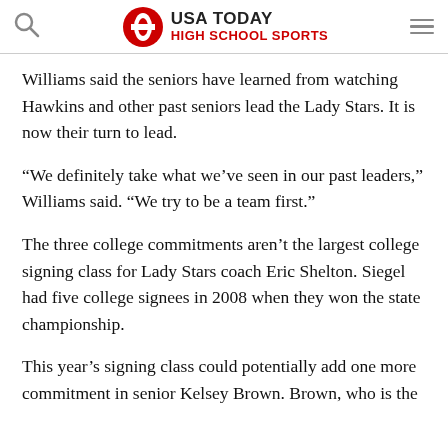USA TODAY HIGH SCHOOL SPORTS
Williams said the seniors have learned from watching Hawkins and other past seniors lead the Lady Stars. It is now their turn to lead.
“We definitely take what we’ve seen in our past leaders,” Williams said. “We try to be a team first.”
The three college commitments aren’t the largest college signing class for Lady Stars coach Eric Shelton. Siegel had five college signees in 2008 when they won the state championship.
This year’s signing class could potentially add one more commitment in senior Kelsey Brown. Brown, who is the